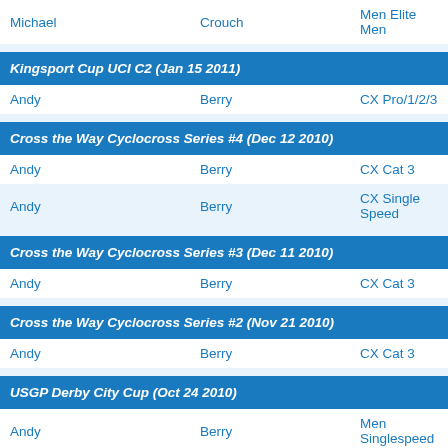Michael   Crouch   Men Elite Men
Kingsport Cup UCI C2 (Jan 15 2011)
Andy   Berry   CX Pro/1/2/3
Cross the Way Cyclocross Series #4 (Dec 12 2010)
Andy   Berry   CX Cat 3
Andy   Berry   CX Single Speed
Cross the Way Cyclocross Series #3 (Dec 11 2010)
Andy   Berry   CX Cat 3
Cross the Way Cyclocross Series #2 (Nov 21 2010)
Andy   Berry   CX Cat 3
USGP Derby City Cup (Oct 24 2010)
Andy   Berry   Men Singlespeed
USGP Derby City Cup Day 2 (Oct 25 2009)
Andy   Berry   Cat 4